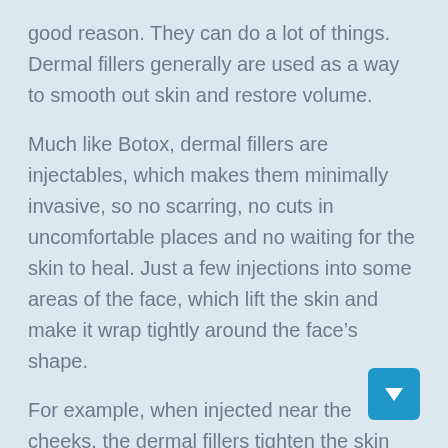good reason. They can do a lot of things. Dermal fillers generally are used as a way to smooth out skin and restore volume.
Much like Botox, dermal fillers are injectables, which makes them minimally invasive, so no scarring, no cuts in uncomfortable places and no waiting for the skin to heal. Just a few injections into some areas of the face, which lift the skin and make it wrap tightly around the face’s shape.
For example, when injected near the cheeks, the dermal fillers tighten the skin